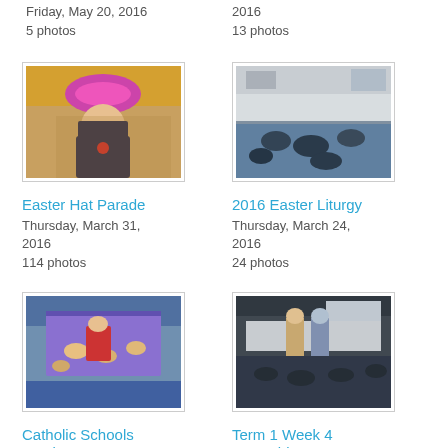Friday, May 20, 2016
5 photos
2016
13 photos
[Figure (photo): Child wearing a pink feathered hat and checkered outfit, smiling at the camera]
Easter Hat Parade
Thursday, March 31, 2016
114 photos
[Figure (photo): Large group of children seated on the floor in a school hall or gymnasium]
2016 Easter Liturgy
Thursday, March 24, 2016
24 photos
[Figure (photo): Children seated around tables in a classroom, with adults including one in red]
Catholic Schools Week 2016
Thursday, March 10, 2016
[Figure (photo): Two students standing in front of a seated group, appearing to present]
Term 1 Week 4 Assembly
Thursday, February 25, 2016